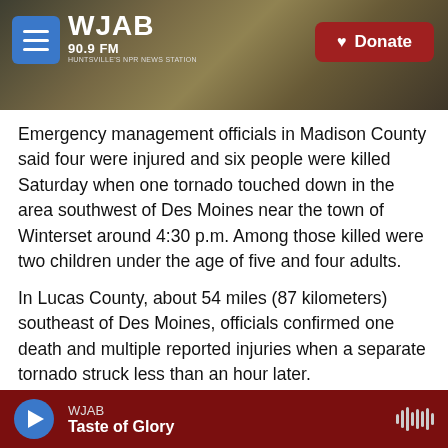[Figure (screenshot): WJAB 90.9 FM radio station website header with banner photo of brass instruments, hamburger menu button, WJAB logo, and red Donate button]
Emergency management officials in Madison County said four were injured and six people were killed Saturday when one tornado touched down in the area southwest of Des Moines near the town of Winterset around 4:30 p.m. Among those killed were two children under the age of five and four adults.
In Lucas County, about 54 miles (87 kilometers) southeast of Des Moines, officials confirmed one death and multiple reported injuries when a separate tornado struck less than an hour later.
WJAB | Taste of Glory